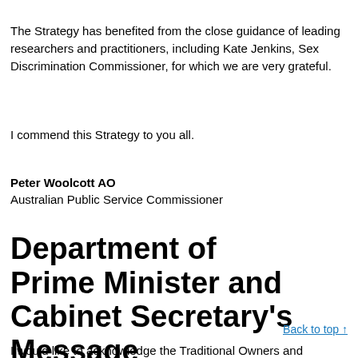The Strategy has benefited from the close guidance of leading researchers and practitioners, including Kate Jenkins, Sex Discrimination Commissioner, for which we are very grateful.
I commend this Strategy to you all.
Peter Woolcott AO
Australian Public Service Commissioner
Department of Prime Minister and Cabinet Secretary's Message
Back to top ↑
I would like to acknowledge the Traditional Owners and